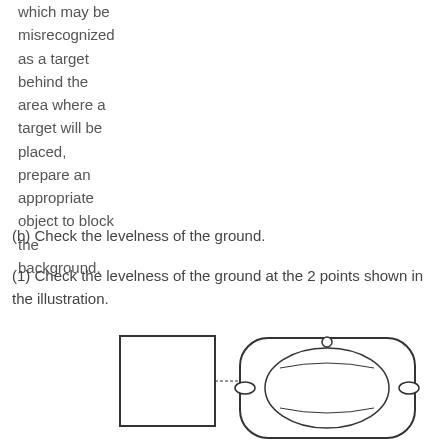which may be misrecognized as a target behind the area where a target will be placed, prepare an appropriate object to block the background.
(b) Check the levelness of the ground.
(1) Check the levelness of the ground at the 2 points shown in the illustration.
[Figure (illustration): Top-down view of a car with a rectangular block/object placed in front of it, showing two measurement points for ground levelness check.]